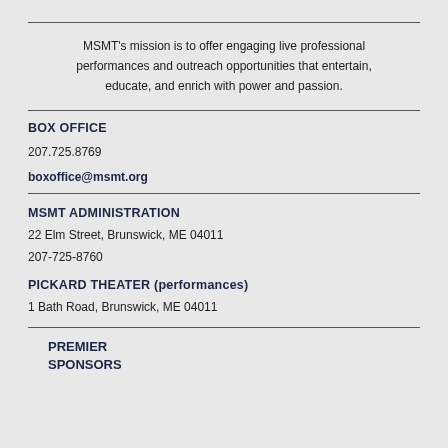MSMT's mission is to offer engaging live professional performances and outreach opportunities that entertain, educate, and enrich with power and passion.
BOX OFFICE
207.725.8769
boxoffice@msmt.org
MSMT ADMINISTRATION
22 Elm Street, Brunswick, ME 04011
207-725-8760
PICKARD THEATER (performances)
1 Bath Road, Brunswick, ME 04011
PREMIER
SPONSORS